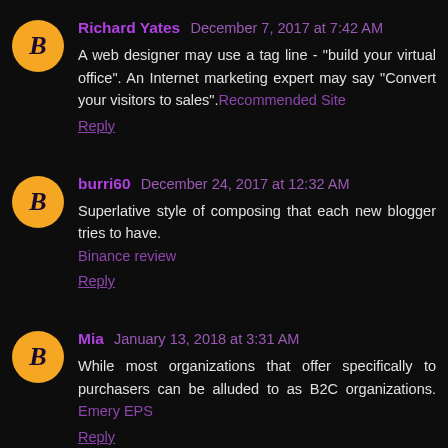Richard Yates December 7, 2017 at 7:42 AM
A web designer may use a tag line - "build your virtual office". An Internet marketing expert may say "Convert your visitors to sales".Recommended Site
Reply
burri60 December 24, 2017 at 12:32 AM
Superlative style of composing that each new blogger tries to have.
Binance review
Reply
Mia January 13, 2018 at 3:31 AM
While most organizations that offer specifically to purchasers can be alluded to as B2C organizations. Emery EPS
Reply